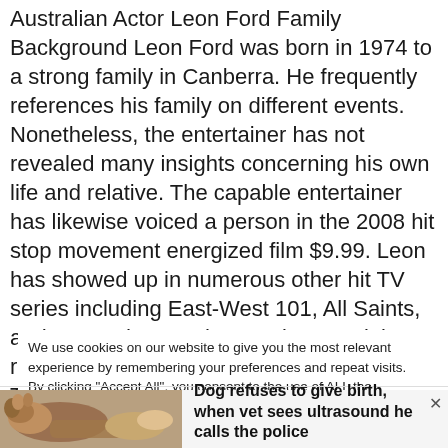Australian Actor Leon Ford Family Background Leon Ford was born in 1974 to a strong family in Canberra. He frequently references his family on different events. Nonetheless, the entertainer has not revealed many insights concerning his own life and relative. The capable entertainer has likewise voiced a person in the 2008 hit stop movement energized film $9.99. Leon has showed up in numerous other hit TV series including East-West 101, All Saints, and McLeod's Daughters. His stage jobs remember depicting devout scoundrel Tartuffe for Bell Shakespeare's adaptation of fraud in
We use cookies on our website to give you the most relevant experience by remembering your preferences and repeat visits. By clicking "Accept All", you consent to the use of ALL the cookies. However, you may visit "Cookie Settings" to provide a controlled consent.
[Figure (photo): Photo of a dog, appears to be a boxer or similar breed, lying down]
Dog refuses to give birth, when vet sees ultrasound he calls the police
Loansocieties | Sponsored